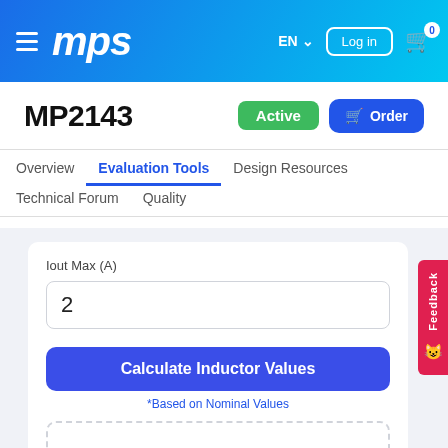MPS
MP2143
Active
Order
Evaluation Tools
Overview
Design Resources
Technical Forum
Quality
Iout Max (A)
2
Calculate Inductor Values
*Based on Nominal Values